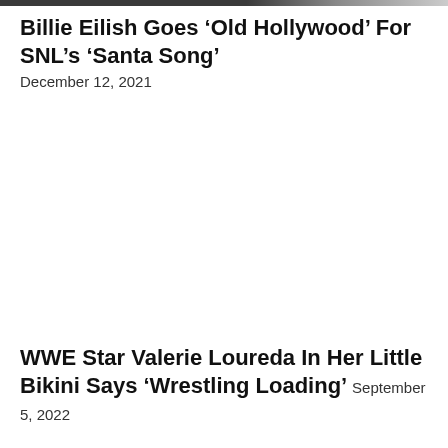[Figure (photo): Partial image visible at top of page, dark gray/black tones]
Billie Eilish Goes ‘Old Hollywood’ For SNL’s ‘Santa Song’
December 12, 2021
WWE Star Valerie Loureda In Her Little Bikini Says ‘Wrestling Loading’
September 5, 2022
NEWSBLAST SIGN-UP